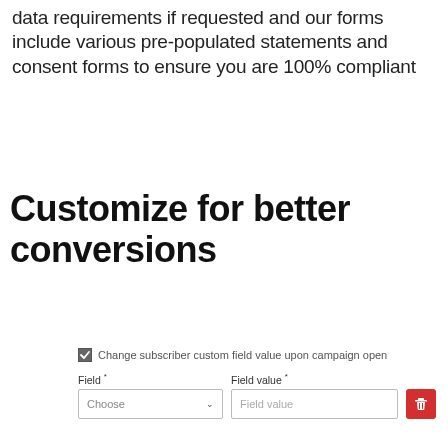data requirements if requested and our forms include various pre-populated statements and consent forms to ensure you are 100% compliant
Customize for better conversions
[Figure (screenshot): UI panel showing a checkbox with label 'Change subscriber custom field value upon campaign open', below which are two form fields: 'Field *' (a dropdown with 'Choose' placeholder) and 'Field value *' (a text input with 'Field value' placeholder), and a red delete button with a trash icon.]